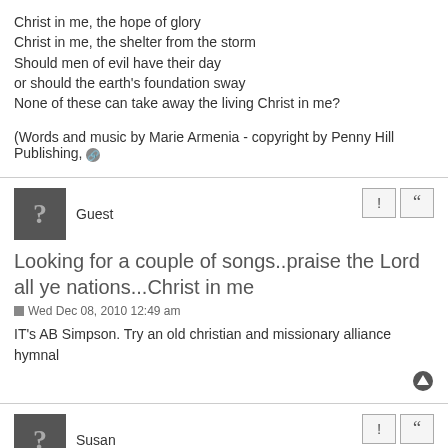Christ in me, the hope of glory
Christ in me, the shelter from the storm
Should men of evil have their day
or should the earth's foundation sway
None of these can take away the living Christ in me?
(Words and music by Marie Armenia - copyright by Penny Hill Publishing,
Guest
Looking for a couple of songs..praise the Lord all ye nations...Christ in me
Wed Dec 08, 2010 12:49 am
IT's AB Simpson. Try an old christian and missionary alliance hymnal
Susan
Re: Looking for a couple of songs..praise the Lord all ye nations...Christ in me
Mon Jan 03, 2022 1:31 pm